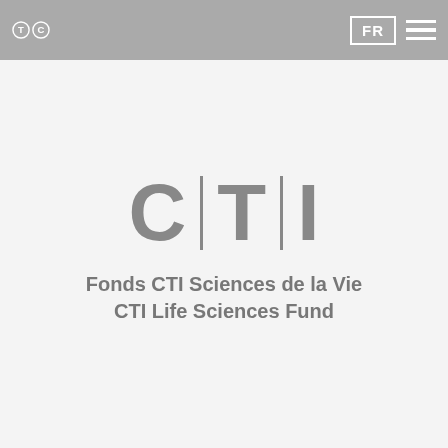[Figure (logo): Navigation bar with TC logo circles on the left, FR language button and hamburger menu on the right, on grey background]
[Figure (logo): CTI logo with large letters C, T, I separated by vertical dividers, with text 'Fonds CTI Sciences de la Vie / CTI Life Sciences Fund' below]